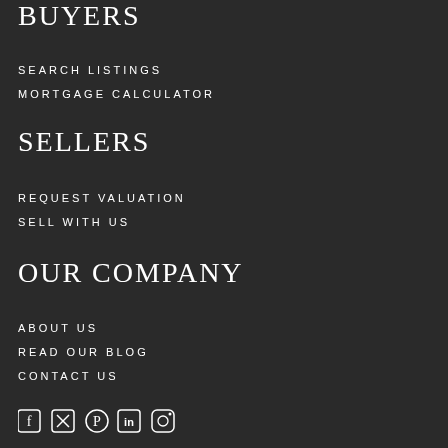BUYERS
SEARCH LISTINGS
MORTGAGE CALCULATOR
SELLERS
REQUEST VALUATION
SELL WITH US
OUR COMPANY
ABOUT US
READ OUR BLOG
CONTACT US
[Figure (illustration): Social media icons row: Facebook, Twitter/X, Pinterest, LinkedIn, Instagram]